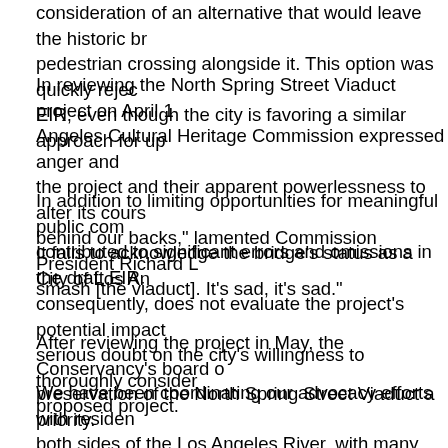consideration of an alternative that would leave the historic br... pedestrian crossing alongside it. This option was quickly rejec... EIR, even though the city is favoring a similar approach for up...
In reviewing the North Spring Street Viaduct project on April 1... Angeles Cultural Heritage Commission expressed anger and ... the project and their apparent powerlessness to alter its cours... behind our backs," lamented Commission President Richard L... smash [the viaduct]. It’s sad, it’s sad."
In addition to limiting opportunities for meaningful public comm... contributed to significant errors and omissions in the draft EIR...
It fails to acknowledge the bridge’s status as a City of Los Ang... consequently, does not evaluate the project’s potential impact... serious doubt on the city’s willingness to thoroughly consider ... proposed project.
After reviewing the project in May, the Conservancy’s board o... preservation of the North Spring Street Viaduct a priority.
We have been coordinating our advocacy efforts with residen... both sides of the Los Angeles River, with many attending a Ju... final EIR. With the final City Council vote anticipated in mid-Ju... district includes the bridge) has not publicly stated his position...